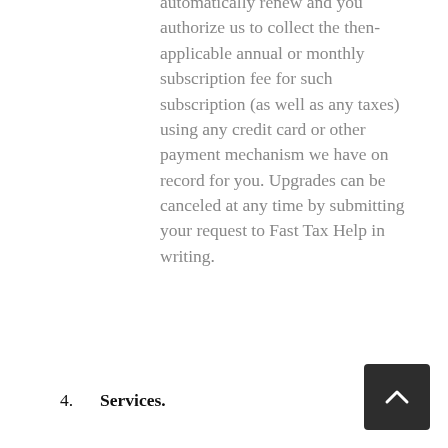automatically renew and you authorize us to collect the then-applicable annual or monthly subscription fee for such subscription (as well as any taxes) using any credit card or other payment mechanism we have on record for you. Upgrades can be canceled at any time by submitting your request to Fast Tax Help in writing.
4. Services.